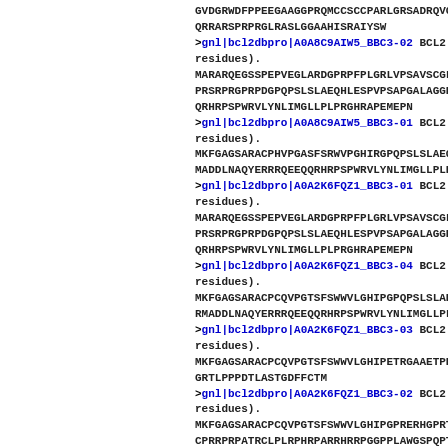GVDGRWDFPPEEGAAGGPRQMCCSCCPARLGRSADRQVG
QRRARSPRPRGLRASLGGAAHISRAIYSW
>gnl|bcl2dbpro|A0A8C9AIW5_BBC3-02  BCL2 residues).
MARARQEGSSPEPVEGLARDGPRPFPLGRLVPSAVSCGL
PRSRPRGPRPDGPQPSLSLAEQHLESPVPSAPGALAGGP
QRHRPSPWRVLYNLIMGLLPLPRGHRAPEMEPN
>gnl|bcl2dbpro|A0A8C9AIW5_BBC3-01  BCL2 residues).
MKFGAGSARACPHVPGASFSRWVPGHIRGPQPSLSLAEQ
MADDLNAQYERRRQEEQQRHRPSPWRVLYNLIMGLLPLP
>gnl|bcl2dbpro|A0A2K6FQZ1_BBC3-01  BCL2 residues).
MARARQEGSSPEPVEGLARDGPRPFPLGRLVPSAVSCGL
PRSRPRGPRPDGPQPSLSLAEQHLESPVPSAPGALAGGP
QRHRPSPWRVLYNLIMGLLPLPRGHRAPEMEPN
>gnl|bcl2dbpro|A0A2K6FQZ1_BBC3-04  BCL2 residues).
MKFGAGSARACPCQVPGTSFSWWVLGHIPGPQPSLSLAE
RMADDLNAQYERRRQEEQQRHRPSPWRVLYNLIMGLLPL
>gnl|bcl2dbpro|A0A2K6FQZ1_BBC3-03  BCL2 residues).
MKFGAGSARACPCQVPGTSFSWWVLGHIPETRGAAETPP
GRTLPPPDTLASTGDFFCTM
>gnl|bcl2dbpro|A0A2K6FQZ1_BBC3-02  BCL2 residues).
MKFGAGSARACPCQVPGTSFSWWVLGHIPGPRERHGPRT
CPRRPRPATRCLPLRPHRPARRHRRPGGPPLAWGSPQPT
PGGGGAVGPRDRGPAAADGRRPQCAVRAAETRGAAETPP
GRTLPPPDTLASTGDFFCTM